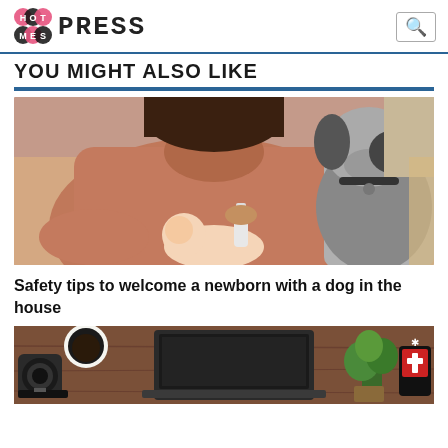HotMessPress (logo with search icon)
YOU MIGHT ALSO LIKE
[Figure (photo): Woman in pink hoodie bottle-feeding a newborn baby while a black and white dog looks on]
Safety tips to welcome a newborn with a dog in the house
[Figure (photo): Overhead view of a desk with a laptop, coffee cup, camera lens, plant, and first aid pouch on a wooden surface]